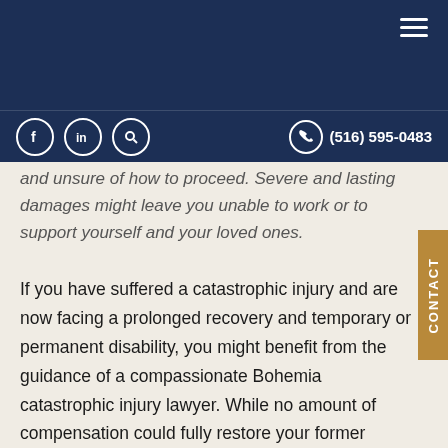Navigation header with social icons (Facebook, LinkedIn, Search) and phone number (516) 595-0483
and unsure of how to proceed. Severe and lasting damages might leave you unable to work or to support yourself and your loved ones.
If you have suffered a catastrophic injury and are now facing a prolonged recovery and temporary or permanent disability, you might benefit from the guidance of a compassionate Bohemia catastrophic injury lawyer. While no amount of compensation could fully restore your former health, a dedicated personal injury attorney could